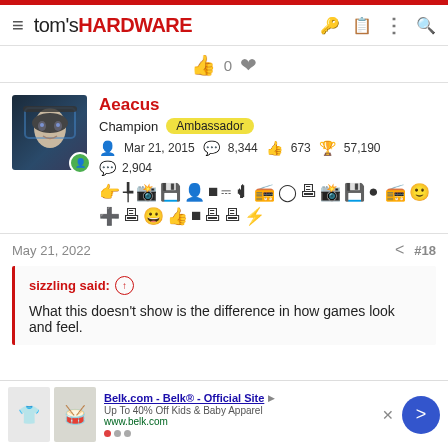tom's HARDWARE
[Figure (screenshot): Vote icons row with thumbs up 0 and heart icon]
[Figure (photo): Avatar of user Aeacus - dark portrait with blue lighting]
Aeacus
Champion Ambassador
Mar 21, 2015  8,344  673  57,190  2,904
[Figure (infographic): Row of forum achievement badge icons]
May 21, 2022  #18
sizzling said: ↑
What this doesn't show is the difference in how games look and feel.
[Figure (screenshot): Belk.com advertisement - Up To 40% Off Kids & Baby Apparel, www.belk.com]